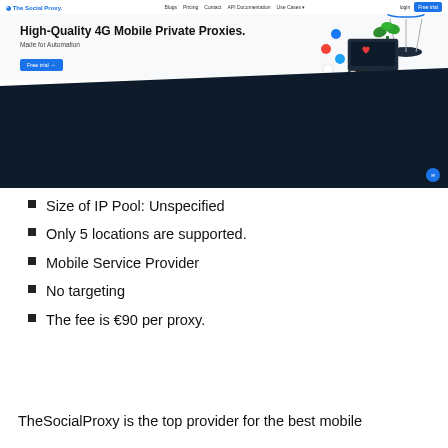[Figure (screenshot): Screenshot of The Social Proxy website homepage showing navigation bar with logo, menu items (Blogs, Pricing, Contact, API Documentation, Use Cases), login and Free Trial buttons, hero section with title 'High-Quality 4G Mobile Private Proxies. Made for Automation', a blue Free Trial button, and a dark background with 3D illustration of laptop, social media icons, and a wireless tower with plant.]
Size of IP Pool: Unspecified
Only 5 locations are supported.
Mobile Service Provider
No targeting
The fee is €90 per proxy.
TheSocialProxy is the top provider for the best mobile